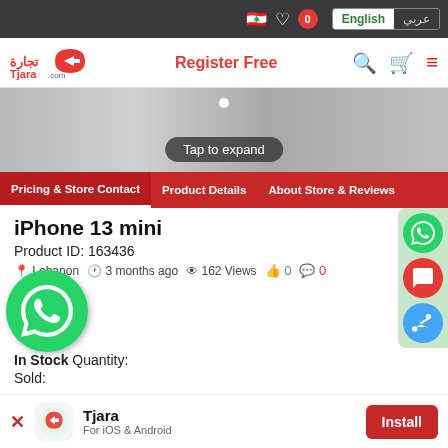Tjara.com - Lebanon - English / عربي
[Figure (screenshot): Product image banner with 'Tap to expand' overlay button and white dot indicator]
Pricing & Store Contact | Product Details | About Store & Reviews
iPhone 13 mini
Product ID: 163436
Lebanon  3 months ago  162 Views  0  0
In Stock Quantity:
Sold:
Tjara - For iOS & Android - Install